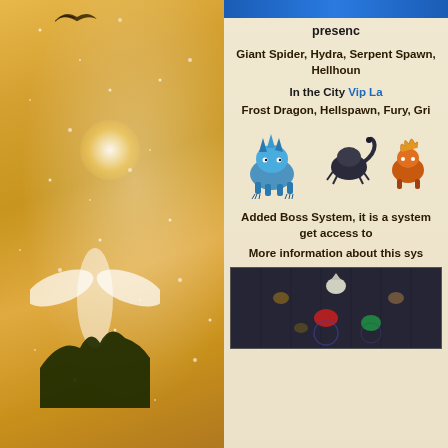[Figure (illustration): Fantasy artwork showing a golden/orange sky with snow particles falling, a dark bird/dragon silhouette at the top, and a white angel-like figure at the bottom center. Left panel of a two-column game website layout.]
presenc
Giant Spider, Hydra, Serpent Spawn, Hellhoun
In the City Vip La
Frost Dragon, Hellspawn, Fury, Gri
[Figure (illustration): Three pixel-art game creature sprites: a blue dragon/beast, a dark scorpion/creature, and an orange/red creature on the right (partially cut off).]
Added Boss System, it is a system get access to
More information about this sys
[Figure (screenshot): Dark game screenshot showing multiple colored creatures/monsters in a dark dungeon-like environment. Creatures appear in various colors including red, green, and white.]